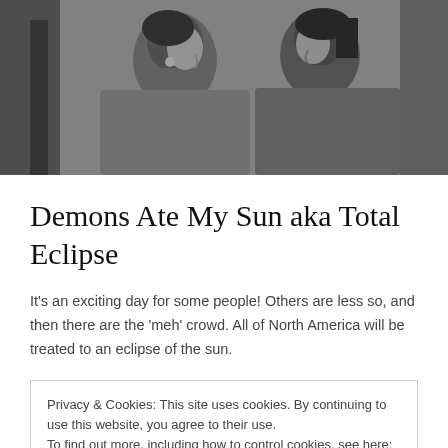[Figure (photo): Black and white photo of two people, profiles visible, looking upward, outdoors]
Demons Ate My Sun aka Total Eclipse
It’s an exciting day for some people! Others are less so, and then there are the ‘meh’ crowd. All of North America will be treated to an eclipse of the sun.
Privacy & Cookies: This site uses cookies. By continuing to use this website, you agree to their use.
To find out more, including how to control cookies, see here: Cookie Policy
slight, partial eclipse – but I don’t live in London either.